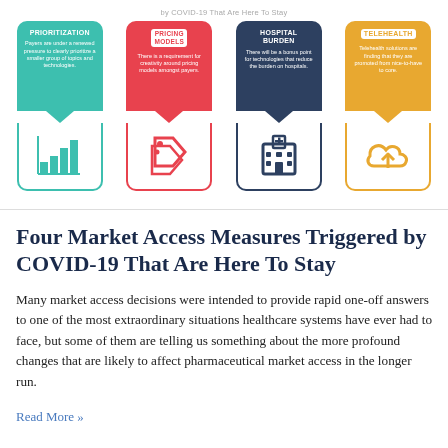[Figure (infographic): Infographic showing four market access measures: Prioritization (teal), Pricing Models (red), Hospital Burden (navy), Telehealth (gold), each with a downward arrow and icon card layout.]
Four Market Access Measures Triggered by COVID-19 That Are Here To Stay
Many market access decisions were intended to provide rapid one-off answers to one of the most extraordinary situations healthcare systems have ever had to face, but some of them are telling us something about the more profound changes that are likely to affect pharmaceutical market access in the longer run.
Read More »